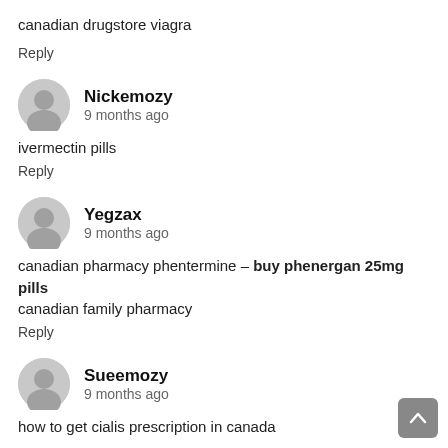canadian drugstore viagra
Reply
Nickemozy
9 months ago
ivermectin pills
Reply
Yegzax
9 months ago
canadian pharmacy phentermine – buy phenergan 25mg pills canadian family pharmacy
Reply
Sueemozy
9 months ago
how to get cialis prescription in canada